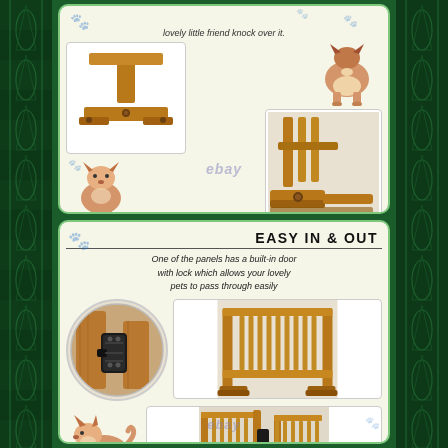[Figure (photo): Top product card showing wooden pet gate base/foot detail photos: left image shows T-shaped wooden base piece (exploded/disassembled view), right top shows corgi dog illustration from behind, right bottom shows close-up photo of assembled wooden gate foot. Corgi illustration bottom-left. eBay watermark. Paw print decorations on background.]
[Figure (photo): Bottom product card titled 'EASY IN & OUT'. Shows close-up circular inset photo of wooden gate panel door lock mechanism (black latch). Right side shows full photo of wooden pet gate assembled with open door panel. Below: corgi dog illustration on left, photo of gate with door open on right. eBay watermark. Paw print decorations.]
lovely little friend knock over it.
EASY IN & OUT
One of the panels has a built-in door with lock which allows your lovely pets to pass through easily